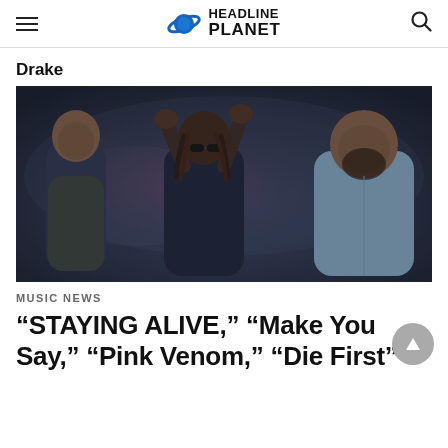HEADLINE PLANET
Drake
[Figure (photo): Three men standing outdoors at night in a dramatic, smoky scene. A man on the left in dark clothing, a man in the center with dreadlocks wearing sunglasses and raising both hands, and a large bearded man on the right in a light blue shirt. Cars with headlights visible in the background.]
MUSIC NEWS
“STAYING ALIVE,” “Make You Say,” “Pink Venom,” “Die First”